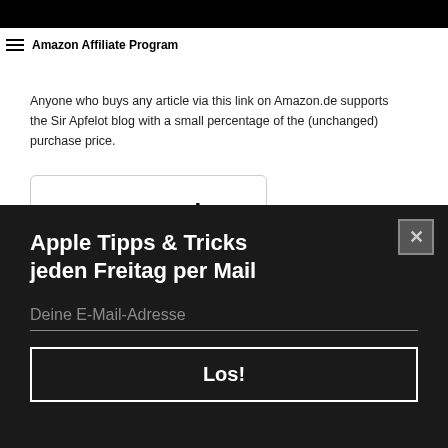Amazon Affiliate Program
Anyone who buys any article via this link on Amazon.de supports the Sir Apfelot blog with a small percentage of the (unchanged) purchase price.
[Figure (screenshot): Amazon.de affiliate banner with logo and 'Hier klicken' button]
[Figure (screenshot): Dark popup overlay with newsletter signup form for 'Apple Tipps & Tricks jeden Freitag per Mail', email input field placeholder 'Deine E-Mail-Adresse', and 'Los!' submit button with close X button]